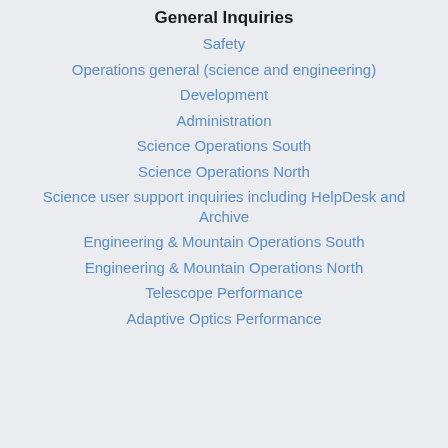General Inquiries
Safety
Operations general (science and engineering)
Development
Administration
Science Operations South
Science Operations North
Science user support inquiries including HelpDesk and Archive
Engineering & Mountain Operations South
Engineering & Mountain Operations North
Telescope Performance
Adaptive Optics Performance